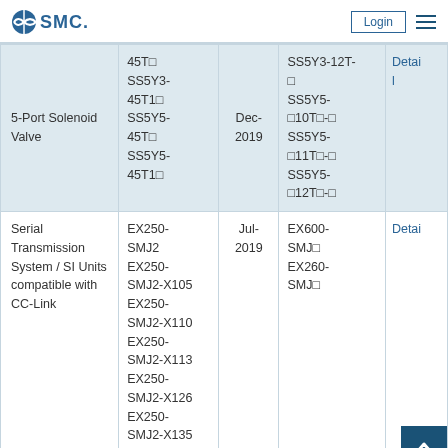SMC Login
| Product | Discontinued Models | Date | Replacement Series | Detail |
| --- | --- | --- | --- | --- |
| 5-Port Solenoid Valve | 45T□
SS5Y3-45T1□
SS5Y5-45T□
SS5Y5-45T1□ | Dec-2019 | SS5Y3-12T-□
SS5Y5-□10T□-□
SS5Y5-□11T□-□
SS5Y5-□12T□-□ | Detail |
| Serial Transmission System / SI Units compatible with CC-Link | EX250-SMJ2
EX250-SMJ2-X105
EX250-SMJ2-X110
EX250-SMJ2-X113
EX250-SMJ2-X126
EX250-SMJ2-X135
EX250- | Jul-2019 | EX600-SMJ□
EX260-SMJ□ | Detail |